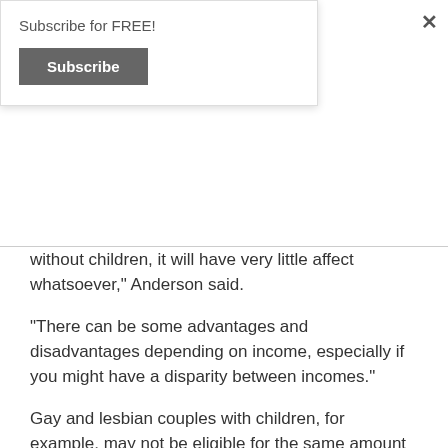Subscribe for FREE!
Subscribe
without children, it will have very little affect whatsoever," Anderson said.
“There can be some advantages and disadvantages depending on income, especially if you might have a disparity between incomes.”
Gay and lesbian couples with children, for example, may not be eligible for the same amount of Family Tax Benefit with a combined income, however are now eligible for medical expenses and dependent spousal tax offsets previously unavailable.
Same-sex couples without children may fair better, now eligible to pay a lower Medicare levy surcharge if their